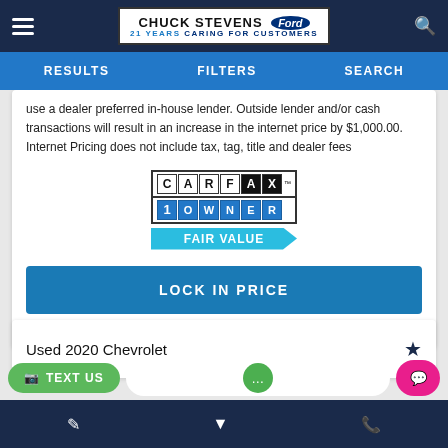Chuck Stevens Ford — 21 Years Caring For Customers
RESULTS   FILTERS   SEARCH
use a dealer preferred in-house lender. Outside lender and/or cash transactions will result in an increase in the internet price by $1,000.00. Internet Pricing does not include tax, tag, title and dealer fees
[Figure (logo): CARFAX 1 Owner Fair Value badge]
LOCK IN PRICE
Used 2020 Chevrolet